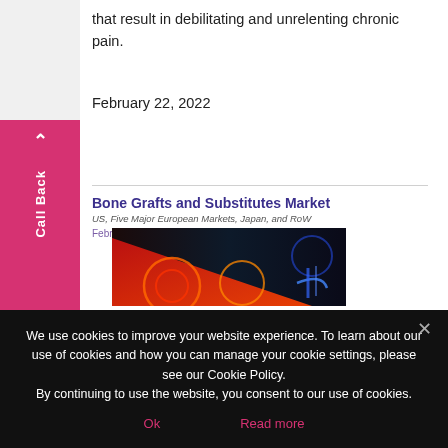that result in debilitating and unrelenting chronic pain.
February 22, 2022
[Figure (screenshot): Report cover thumbnail for 'Bone Grafts and Substitutes Market' showing dark background with colorful circular graphic elements in red, orange and blue tones]
We use cookies to improve your website experience. To learn about our use of cookies and how you can manage your cookie settings, please see our Cookie Policy.
By continuing to use the website, you consent to our use of cookies.
Ok
Read more